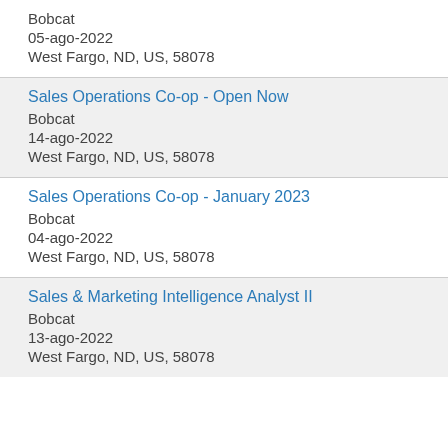Bobcat
05-ago-2022
West Fargo, ND, US, 58078
Sales Operations Co-op - Open Now
Bobcat
14-ago-2022
West Fargo, ND, US, 58078
Sales Operations Co-op - January 2023
Bobcat
04-ago-2022
West Fargo, ND, US, 58078
Sales & Marketing Intelligence Analyst II
Bobcat
13-ago-2022
West Fargo, ND, US, 58078